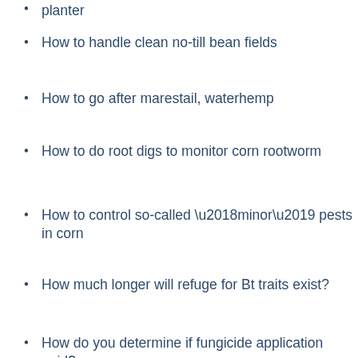planter
How to handle clean no-till bean fields
How to go after marestail, waterhemp
How to do root digs to monitor corn rootworm
How to control so-called ‘minor’ pests in corn
How much longer will refuge for Bt traits exist?
How do you determine if fungicide application paid?
Handling wet soil when tile isn't an option